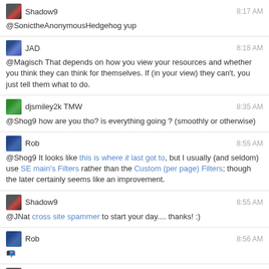Shadow9 8:17 AM @SonictheAnonymousHedgehog yup
JAD 8:18 AM @Magisch That depends on how you view your resources and whether you think they can think for themselves. If (in your view) they can't, you just tell them what to do.
djsmiley2k TMW 8:35 AM @Shog9 how are you tho? is everything going ? (smoothly or otherwise)
Rob 8:55 AM @Shog9 It looks like this is where it last got to, but I usually (and seldom) use SE main's Filters rather than the Custom (per page) Filters; though the later certainly seems like an improvement.
Shadow9 8:55 AM @JNat cross site spammer to start your day.... thanks! :)
Rob 8:56 AM 📭o
Shadow9 8:56 AM @Rob bon appetite !!eat spam
SmokeDetector 8:56 AM @Shadow9 No such command 'eat'.